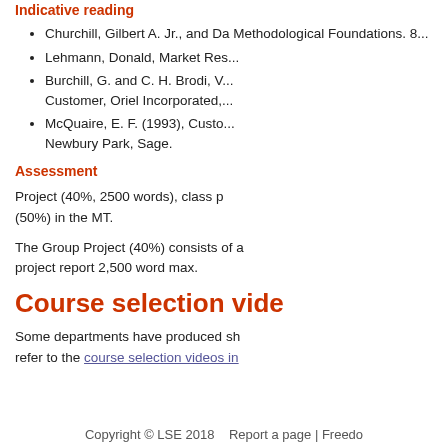Indicative reading
Churchill, Gilbert A. Jr., and Da Methodological Foundations. 8...
Lehmann, Donald, Market Res...
Burchill, G. and C. H. Brodi, V... Customer, Oriel Incorporated,...
McQuaire, E. F. (1993), Custo... Newbury Park, Sage.
Assessment
Project (40%, 2500 words), class p (50%) in the MT.
The Group Project (40%) consists of a project report 2,500 word max.
Course selection vide
Some departments have produced sh refer to the course selection videos in
Copyright © LSE 2018    Report a page | Freedo